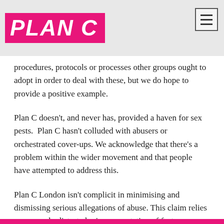PLAN C
procedures, protocols or processes other groups ought to adopt in order to deal with these, but we do hope to provide a positive example.
Plan C doesn’t, and never has, provided a haven for sex pests.  Plan C hasn’t colluded with abusers or orchestrated cover-ups. We acknowledge that there’s a problem within the wider movement and that people have attempted to address this.
Plan C London isn’t complicit in minimising and dismissing serious allegations of abuse. This claim relies on a grossly distorted misrepresentation of fact.  Survivors who reached out to Plan C members for support were supported.  No Plan C member put others at risk.